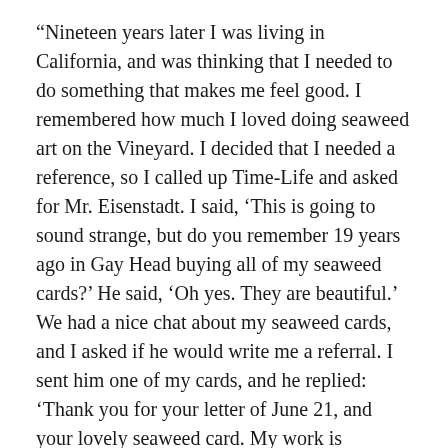“Nineteen years later I was living in California, and was thinking that I needed to do something that makes me feel good. I remembered how much I loved doing seaweed art on the Vineyard. I decided that I needed a reference, so I called up Time-Life and asked for Mr. Eisenstadt. I said, ‘This is going to sound strange, but do you remember 19 years ago in Gay Head buying all of my seaweed cards?’ He said, ‘Oh yes. They are beautiful.’ We had a nice chat about my seaweed cards, and I asked if he would write me a referral. I sent him one of my cards, and he replied: ‘Thank you for your letter of June 21, and your lovely seaweed card. My work is exhibited this year again at the Granary Gallery. If you call them, ask for Bruce or Bandy, and tell them that I referred them to you because I found your work outstanding.’”
Ms. Kaufman eventually returned to the Vineyard and kept